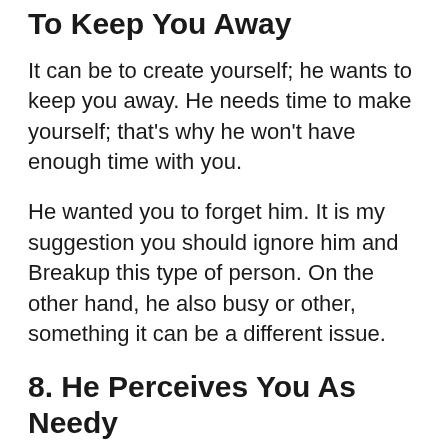To Keep You Away
It can be to create yourself; he wants to keep you away. He needs time to make yourself; that’s why he won’t have enough time with you.
He wanted you to forget him. It is my suggestion you should ignore him and Breakup this type of person. On the other hand, he also busy or other, something it can be a different issue.
8. He Perceives You As Needy
If you think, why do guys become cold after Breakup and then think about your boyfriend’s present situation from his